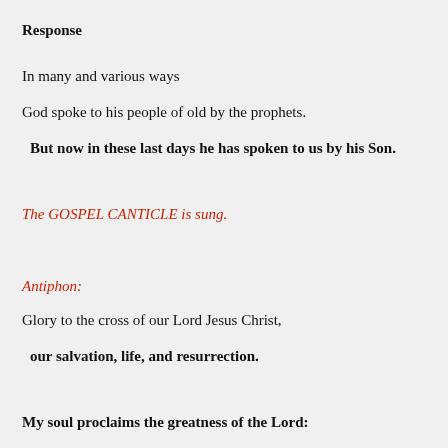Response
In many and various ways
God spoke to his people of old by the prophets.
But now in these last days he has spoken to us by his Son.
The GOSPEL CANTICLE is sung.
Antiphon:
Glory to the cross of our Lord Jesus Christ,
our salvation, life, and resurrection.
My soul proclaims the greatness of the Lord: